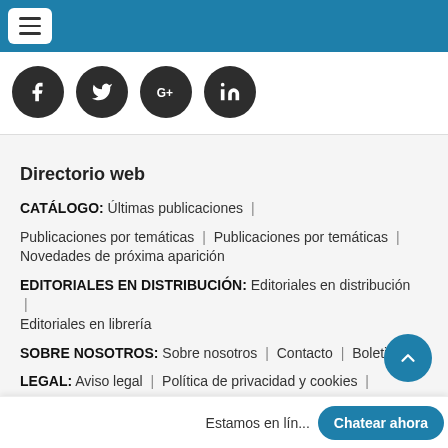≡ (hamburger menu button)
[Figure (illustration): Social media icon buttons: Facebook (f), Twitter (bird), Google+ (G+), LinkedIn (in) — dark circular icons on white bar]
Directorio web
CATÁLOGO: Últimas publicaciones |
Publicaciones por temáticas | Publicaciones por temáticas | Novedades de próxima aparición
EDITORIALES EN DISTRIBUCIÓN: Editoriales en distribución | Editoriales en librería
SOBRE NOSOTROS: Sobre nosotros | Contacto | Boletines
LEGAL: Aviso legal | Política de privacidad y cookies |
Términos y condiciones de la
Estamos en lín... Chatear ahora